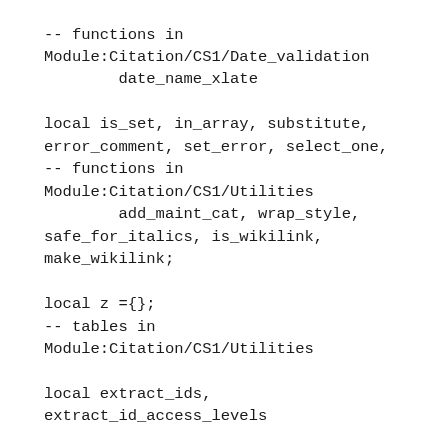-- functions in
Module:Citation/CS1/Date_validation
        date_name_xlate

local is_set, in_array, substitute,
error_comment, set_error, select_one,
-- functions in
Module:Citation/CS1/Utilities
        add_maint_cat, wrap_style,
safe_for_italics, is_wikilink,
make_wikilink;

local z ={};
-- tables in
Module:Citation/CS1/Utilities

local extract_ids,
extract_id_access_levels